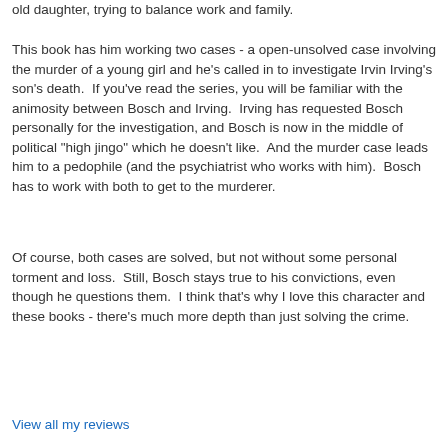old daughter, trying to balance work and family.
This book has him working two cases - a open-unsolved case involving the murder of a young girl and he's called in to investigate Irvin Irving's son's death.  If you've read the series, you will be familiar with the animosity between Bosch and Irving.  Irving has requested Bosch personally for the investigation, and Bosch is now in the middle of political "high jingo" which he doesn't like.  And the murder case leads him to a pedophile (and the psychiatrist who works with him).  Bosch has to work with both to get to the murderer.
Of course, both cases are solved, but not without some personal torment and loss.  Still, Bosch stays true to his convictions, even though he questions them.  I think that's why I love this character and these books - there's much more depth than just solving the crime.
View all my reviews